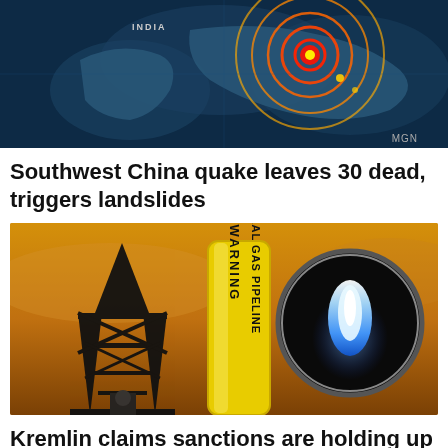[Figure (map): Seismic/earthquake map showing Southwest China region with concentric heat-map rings in red/orange indicating quake epicenter, dark blue background showing map of Asia including India label, MGN watermark bottom right]
Southwest China quake leaves 30 dead, triggers landslides
[Figure (photo): Photo showing oil derrick silhouette against orange sunset sky, yellow cylindrical pipeline marker with WARNING NATURAL GAS PIPELINE text written vertically, and a circular close-up of a blue natural gas flame on black background]
Kremlin claims sanctions are holding up natural gas supplies